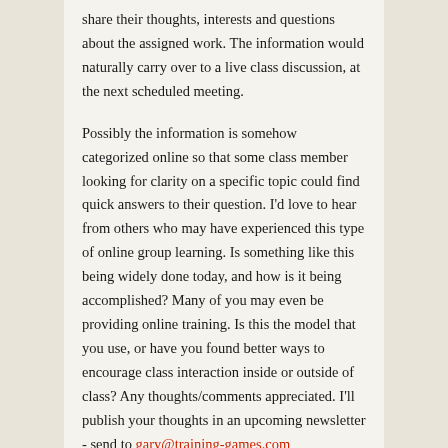share their thoughts, interests and questions about the assigned work. The information would naturally carry over to a live class discussion, at the next scheduled meeting.
Possibly the information is somehow categorized online so that some class member looking for clarity on a specific topic could find quick answers to their question. I'd love to hear from others who may have experienced this type of online group learning. Is something like this being widely done today, and how is it being accomplished? Many of you may even be providing online training. Is this the model that you use, or have you found better ways to encourage class interaction inside or outside of class? Any thoughts/comments appreciated. I'll publish your thoughts in an upcoming newsletter - send to gary@training-games.com